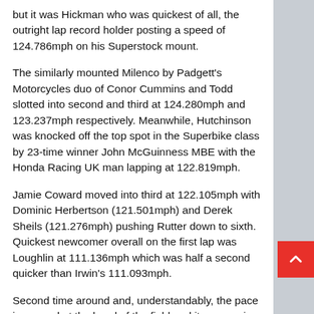but it was Hickman who was quickest of all, the outright lap record holder posting a speed of 124.786mph on his Superstock mount.
The similarly mounted Milenco by Padgett's Motorcycles duo of Conor Cummins and Todd slotted into second and third at 124.280mph and 123.237mph respectively. Meanwhile, Hutchinson was knocked off the top spot in the Superbike class by 23-time winner John McGuinness MBE with the Honda Racing UK man lapping at 122.819mph.
Jamie Coward moved into third at 122.105mph with Dominic Herbertson (121.501mph) and Derek Sheils (121.276mph) pushing Rutter down to sixth. Quickest newcomer overall on the first lap was Loughlin at 111.136mph which was half a second quicker than Irwin's 111.093mph.
Second time around and, understandably, the pace increased at the head of the field and it was again the three Superstock riders of Hickman, Cummins and Todd